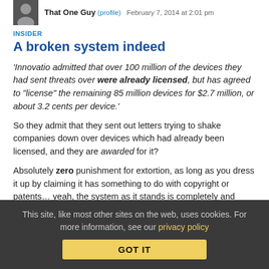That One Guy (profile) · February 7, 2014 at 2:01 pm
INSIDER
A broken system indeed
'Innovatio admitted that over 100 million of the devices they had sent threats over were already licensed, but has agreed to "license" the remaining 85 million devices for $2.7 million, or about 3.2 cents per device.'
So they admit that they sent out letters trying to shake companies down over devices which had already been licensed, and they are awarded for it?
Absolutely zero punishment for extortion, as long as you dress it up by claiming it has something to do with copyright or patents… yeah, the system as it stands is completely and utterly broken in favor of parasites like that.
This site, like most other sites on the web, uses cookies. For more information, see our privacy policy  GOT IT